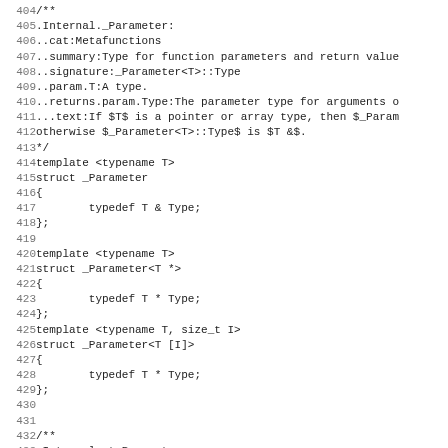[Figure (other): Source code listing lines 404-435 showing C++ template structs for _Parameter with documentation comments]